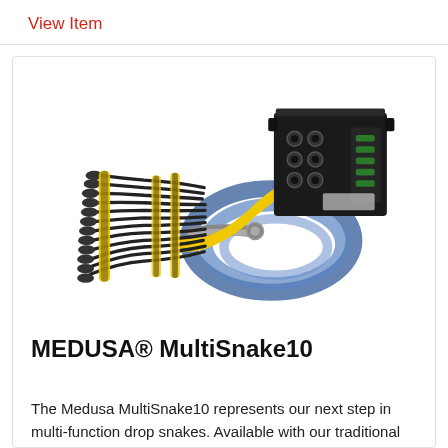View Item
[Figure (photo): MEDUSA MultiSnake10 audio snake cable system showing a black metal stage box with XLR connectors on top, yellow and black individual XLR cables fanning out to the left, and a coiled blue/gray multi-core cable trunk.]
MEDUSA® MultiSnake10
The Medusa MultiSnake10 represents our next step in multi-function drop snakes. Available with our traditional Twisted Pair heads or our Blue...